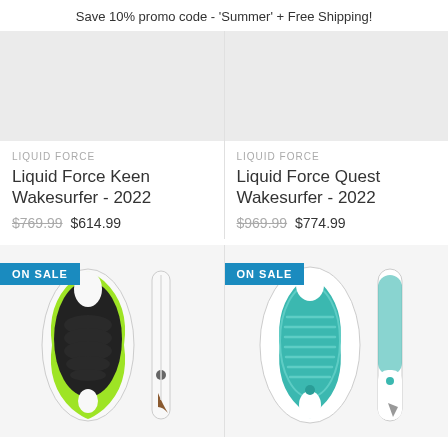Save 10% promo code - 'Summer' + Free Shipping!
LIQUID FORCE
Liquid Force Keen Wakesurfer - 2022
$769.99 $614.99
LIQUID FORCE
Liquid Force Quest Wakesurfer - 2022
$969.99 $774.99
[Figure (photo): Liquid Force Keen Wakesurfer 2022 product photo showing black and green board with traction pad, front and side views. ON SALE badge displayed.]
[Figure (photo): Liquid Force Quest Wakesurfer 2022 product photo showing teal/white board with traction pad, front and side views. ON SALE badge displayed.]